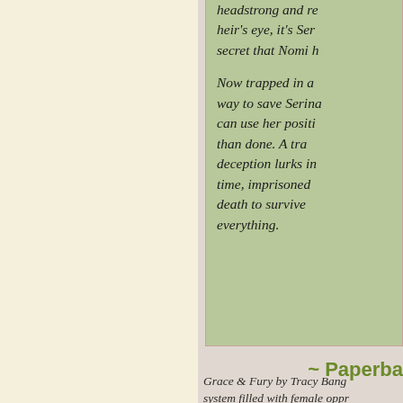headstrong and re heir's eye, it's Ser secret that Nomi h Now trapped in a way to save Serina can use her positi than done. A tra deception lurks in time, imprisoned death to survive everything.
~ Paperba
Grace & Fury by Tracy Bang system filled with female oppr